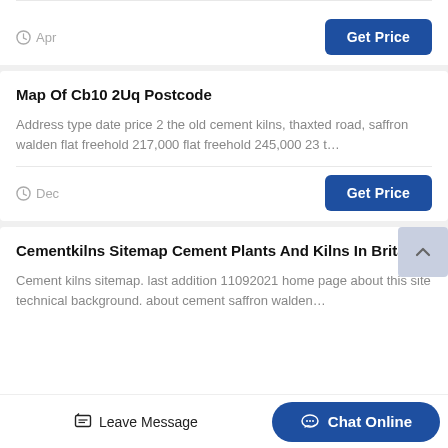Apr
Get Price
Map Of Cb10 2Uq Postcode
Address type date price 2 the old cement kilns, thaxted road, saffron walden flat freehold 217,000 flat freehold 245,000 23 t…
Dec
Get Price
Cementkilns Sitemap Cement Plants And Kilns In Britain
Cement kilns sitemap. last addition 11092021 home page about this site technical background. about cement saffron walden…
Leave Message  Chat Online